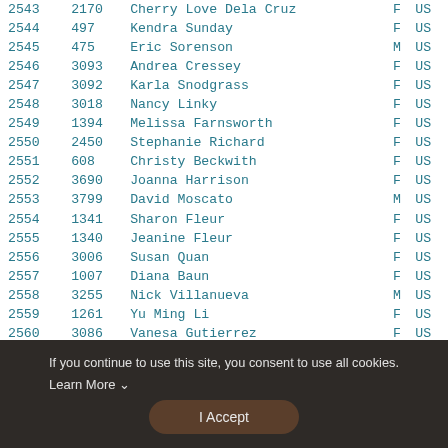| Rank | Bib | Name | Gender | Country |
| --- | --- | --- | --- | --- |
| 2543 | 2170 | Cherry Love Dela Cruz | F | US |
| 2544 | 497 | Kendra Sunday | F | US |
| 2545 | 475 | Eric Sorenson | M | US |
| 2546 | 3093 | Andrea Cressey | F | US |
| 2547 | 3092 | Karla Snodgrass | F | US |
| 2548 | 3018 | Nancy Linky | F | US |
| 2549 | 1394 | Melissa Farnsworth | F | US |
| 2550 | 2450 | Stephanie Richard | F | US |
| 2551 | 608 | Christy Beckwith | F | US |
| 2552 | 3690 | Joanna Harrison | F | US |
| 2553 | 3799 | David Moscato | M | US |
| 2554 | 1341 | Sharon Fleur | F | US |
| 2555 | 1340 | Jeanine Fleur | F | US |
| 2556 | 3006 | Susan Quan | F | US |
| 2557 | 1007 | Diana Baun | F | US |
| 2558 | 3255 | Nick Villanueva | M | US |
| 2559 | 1261 | Yu Ming Li | F | US |
| 2560 | 3086 | Vanesa Gutierrez | F | US |
| 2561 | 3338 | Christy Hong | F | US |
| 2562 | 470 | Angela S Geis | F | US |
| 2563 | 2759 | Ashleigh Macomber | F | US |
If you continue to use this site, you consent to use all cookies. Learn More
I Accept